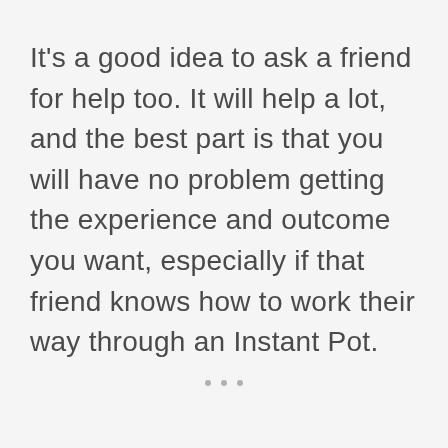It's a good idea to ask a friend for help too. It will help a lot, and the best part is that you will have no problem getting the experience and outcome you want, especially if that friend knows how to work their way through an Instant Pot.
• • •